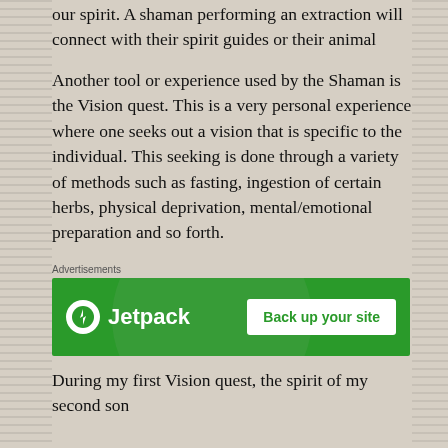our spirit. A shaman performing an extraction will connect with their spirit guides or their animal totems and isolate and then remove the opposing energy. This operation allows for ones spiritual balance to return and thus lends to a healthier life both physically and spiritually.
Another tool or experience used by the Shaman is the Vision quest. This is a very personal experience where one seeks out a vision that is specific to the individual. This seeking is done through a variety of methods such as fasting, ingestion of certain herbs, physical deprivation, mental/emotional preparation and so forth.
[Figure (other): Jetpack advertisement banner with green background, Jetpack logo (white circle with lightning bolt icon and 'Jetpack' text), and a white 'Back up your site' button.]
During my first Vision quest, the spirit of my second son